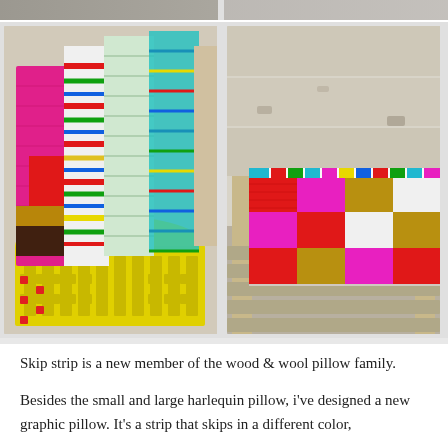[Figure (photo): Top strip showing partial view of crochet/knit items - two images side by side cropped at top]
[Figure (photo): Left photo: colorful crocheted blankets/pillows rolled up in a yellow laundry basket, with pink, red, gold, brown, and striped multicolor textile items. Right photo: a crocheted patchwork pillow with red, pink, gold/olive, and white color block squares, resting on a weathered white wooden bench/chair outdoors.]
Skip strip is a new member of the wood & wool pillow family.
Besides the small and large harlequin pillow, i've designed a new graphic pillow. It's a strip that skips in a different color,